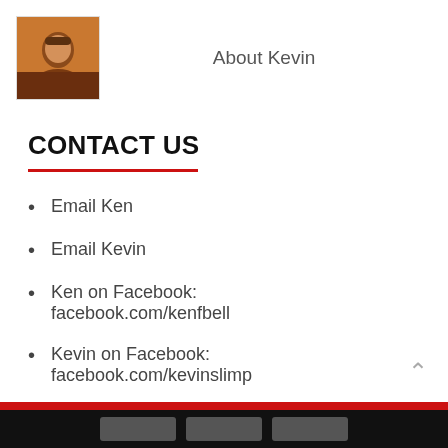[Figure (photo): Small profile photo of a person, brownish tones]
About Kevin
CONTACT US
Email Ken
Email Kevin
Ken on Facebook: facebook.com/kenfbell
Kevin on Facebook: facebook.com/kevinslimp